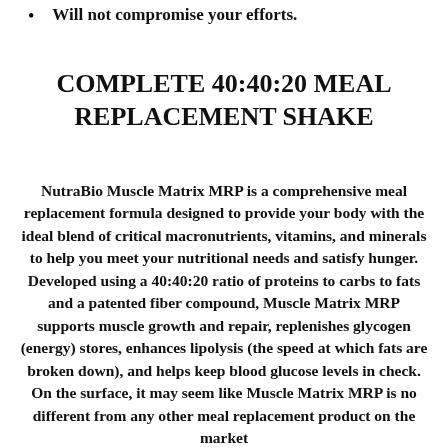Will not compromise your efforts.
COMPLETE 40:40:20 MEAL REPLACEMENT SHAKE
NutraBio Muscle Matrix MRP is a comprehensive meal replacement formula designed to provide your body with the ideal blend of critical macronutrients, vitamins, and minerals to help you meet your nutritional needs and satisfy hunger. Developed using a 40:40:20 ratio of proteins to carbs to fats and a patented fiber compound, Muscle Matrix MRP supports muscle growth and repair, replenishes glycogen (energy) stores, enhances lipolysis (the speed at which fats are broken down), and helps keep blood glucose levels in check. On the surface, it may seem like Muscle Matrix MRP is no different from any other meal replacement product on the market